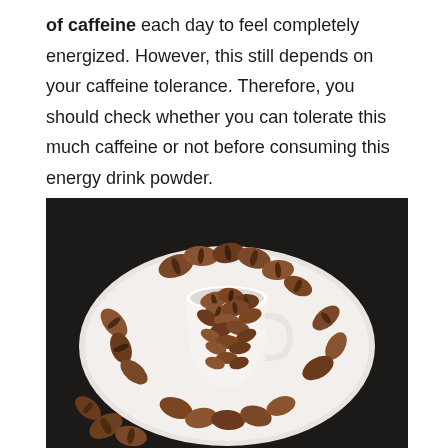of caffeine each day to feel completely energized. However, this still depends on your caffeine tolerance. Therefore, you should check whether you can tolerate this much caffeine or not before consuming this energy drink powder.
[Figure (photo): Overhead view of a white coffee cup filled with roasted coffee beans sitting on a white saucer, with additional coffee beans scattered around the saucer, set on a dark wooden surface.]